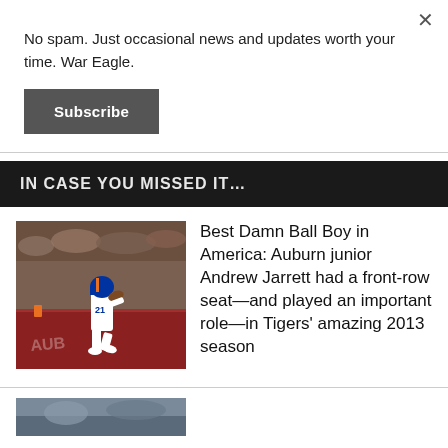No spam. Just occasional news and updates worth your time. War Eagle.
Subscribe
IN CASE YOU MISSED IT…
[Figure (photo): Football player #21 in Auburn uniform running in end zone during game]
Best Damn Ball Boy in America: Auburn junior Andrew Jarrett had a front-row seat—and played an important role—in Tigers' amazing 2013 season
[Figure (photo): Partial image of another article photo at bottom of page]